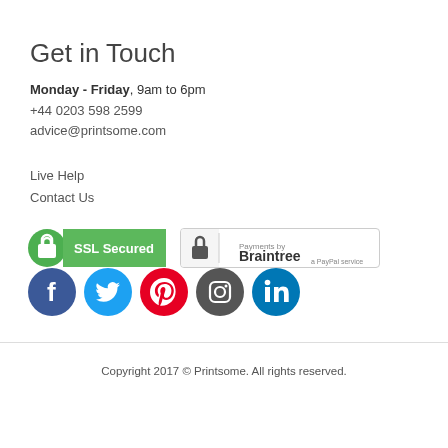Get in Touch
Monday - Friday, 9am to 6pm
+44 0203 598 2599
advice@printsome.com
Live Help
Contact Us
[Figure (logo): SSL Secured green badge and Payments by Braintree badge side by side, followed by social media icons for Facebook, Twitter, Pinterest, Instagram, LinkedIn]
Copyright 2017 © Printsome. All rights reserved.